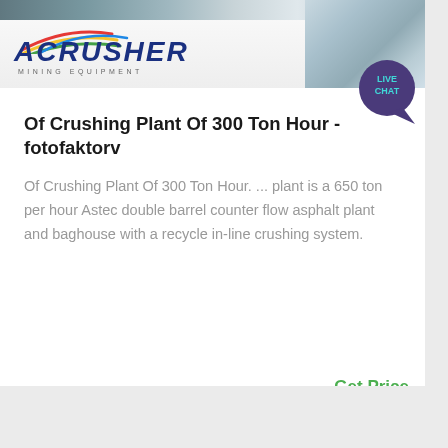[Figure (photo): ACrusher Mining Equipment banner logo with rainbow arcs and industrial mining site photo on the right side]
[Figure (illustration): Live Chat speech bubble icon in teal/dark blue with text LIVE CHAT]
Of Crushing Plant Of 300 Ton Hour - fotofaktorv
Of Crushing Plant Of 300 Ton Hour. ... plant is a 650 ton per hour Astec double barrel counter flow asphalt plant and baghouse with a recycle in-line crushing system.
Get Price
[Figure (photo): Industrial/mining facility aerial view at bottom of page]